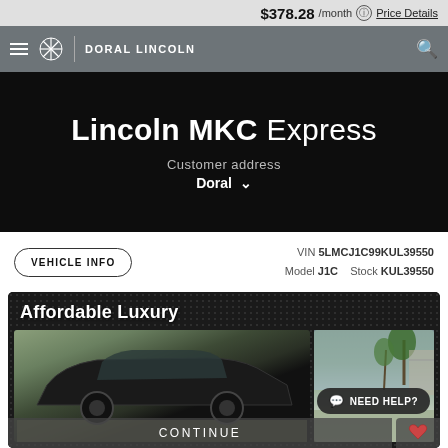$378.28 /month  Price Details
DORAL LINCOLN
Lincoln MKC Express
Customer address
Doral
VIN 5LMCJ1C99KUL39550  Model J1C  Stock KUL39550
VEHICLE INFO
[Figure (photo): Lincoln MKC SUV parked outdoors with text overlay 'Affordable Luxury' and a NEED HELP? chat button. CONTINUE button at bottom.]